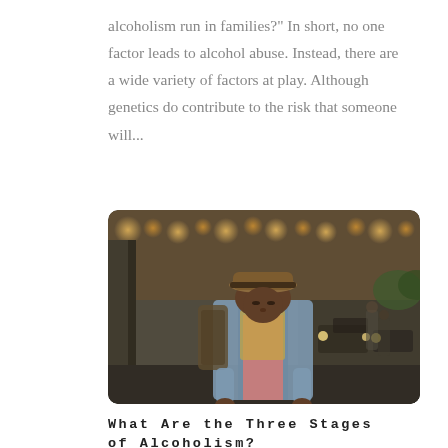alcoholism run in families?" In short, no one factor leads to alcohol abuse. Instead, there are a wide variety of factors at play. Although genetics do contribute to the risk that someone will...
[Figure (photo): A man wearing a hat and denim jacket hunched over on an urban street with blurred city traffic in the background]
What Are the Three Stages of Alcoholism?
by TheBeachcomberRehabilitation | Feb